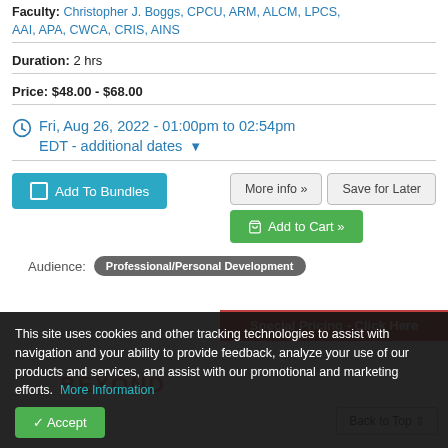Faculty: Christopher J. Boggs, CPCU, ARM, ALCM, LPCS, AAI, APA, CWCA, CRIS, AINS
Duration: 2 hrs
Price: $48.00 - $68.00
Fri, Aug 26, 2022 - 01:00pm to 02:54pm EDT - additional dates
Add To Bundles
More info »
Save for Later
Add to Cart »
Audience: Professional/Personal Development
Special Pricing - Click Here
This site uses cookies and other tracking technologies to assist with navigation and your ability to provide feedback, analyze your use of our products and services, and assist with our promotional and marketing efforts.  More Information
Accept
Back to Top